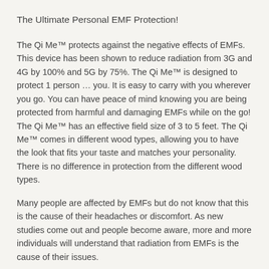The Ultimate Personal EMF Protection!
The Qi Me™ protects against the negative effects of EMFs. This device has been shown to reduce radiation from 3G and 4G by 100% and 5G by 75%. The Qi Me™ is designed to protect 1 person … you. It is easy to carry with you wherever you go. You can have peace of mind knowing you are being protected from harmful and damaging EMFs while on the go! The Qi Me™ has an effective field size of 3 to 5 feet. The Qi Me™ comes in different wood types, allowing you to have the look that fits your taste and matches your personality. There is no difference in protection from the different wood types.
Many people are affected by EMFs but do not know that this is the cause of their headaches or discomfort. As new studies come out and people become aware, more and more individuals will understand that radiation from EMFs is the cause of their issues.
The Qi Me™ is safe for everyone including children,